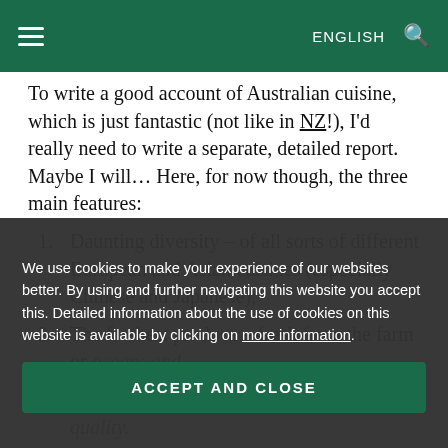ENGLISH
To write a good account of Australian cuisine, which is just fantastic (not like in NZ!), I'd really need to write a separate, detailed report. Maybe I will… Here, for now though, the three main features:
Daunting diversity – of all sorts of different European and Asian cuisines (especially Chinese and Japanese);
The freshest produce – fresh from the farm or ocean; and
A painstakingly demanding attitude to quality.
the healthiest of feasts. Agh, when in Rome… ;).
We use cookies to make your experience of our websites better. By using and further navigating this website you accept this. Detailed information about the use of cookies on this website is available by clicking on more information.